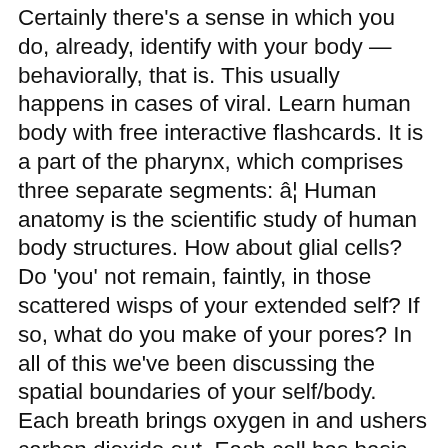Certainly there's a sense in which you do, already, identify with your body — behaviorally, that is. This usually happens in cases of viral. Learn human body with free interactive flashcards. It is a part of the pharynx, which comprises three separate segments: â¦ Human anatomy is the scientific study of human body structures. How about glial cells? Do 'you' not remain, faintly, in those scattered wisps of your extended self? If so, what do you make of your pores? In all of this we've been discussing the spatial boundaries of your self/body. Each breath brings oxygen in and ushers carbon dioxide out. Each cell has basic requirements to sustain it, and the body's organ systems are largely built around providing the many trillions of cells with those basic needs (such as oxygen, food, and waste removal). ... in tandem with the habitual cultivation of the human body in everyday monastic living. They keep your neurons happy — but then, so do your heart and lungs, and for some reason you felt the need to cut them out of the picture. These are all parts of a whole system of tasks that our body performs. Sure, mitochondria may have originally been separate organisms in...